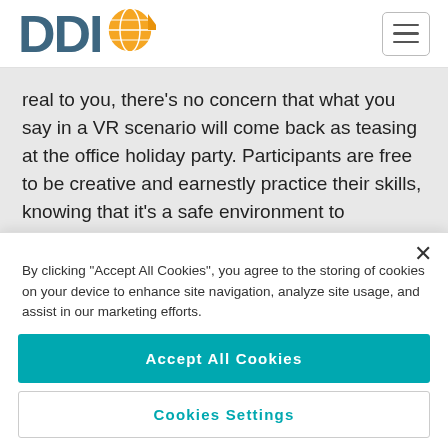[Figure (logo): DDI logo with orange globe graphic and teal/dark blue text]
real to you, there's no concern that what you say in a VR scenario will come back as teasing at the office holiday party. Participants are free to be creative and earnestly practice their skills, knowing that it's a safe environment to experiment.
A second issue with skill practice in the classroom is that it's typically a low-tension environment. While role-playing partners
By clicking "Accept All Cookies", you agree to the storing of cookies on your device to enhance site navigation, analyze site usage, and assist in our marketing efforts.
Accept All Cookies
Cookies Settings